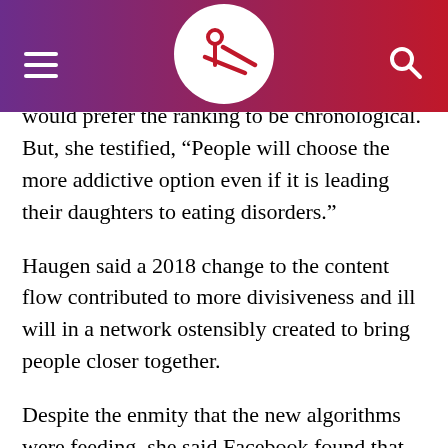Header bar with navigation icons and logo
would prefer the ranking to be chronological. But, she testified, “People will choose the more addictive option even if it is leading their daughters to eating disorders.”
Haugen said a 2018 change to the content flow contributed to more divisiveness and ill will in a network ostensibly created to bring people closer together.
Despite the enmity that the new algorithms were feeding, she said Facebook found that they helped keep people coming back — a pattern